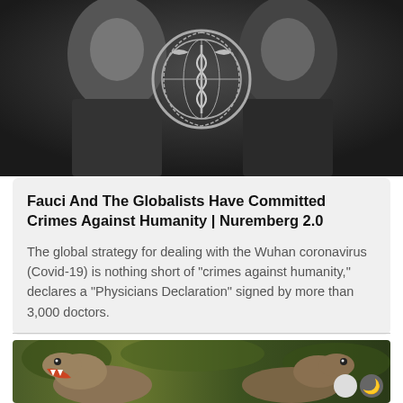[Figure (photo): Black and white photo of two people in suits, one wearing a WHO (World Health Organization) logo on their clothing. The WHO emblem is prominently visible in the center of the image.]
Fauci And The Globalists Have Committed Crimes Against Humanity | Nuremberg 2.0
The global strategy for dealing with the Wuhan coronavirus (Covid-19) is nothing short of "crimes against humanity," declares a "Physicians Declaration" signed by more than 3,000 doctors.
[Figure (photo): Color photo of two dinosaurs (T-Rex type) facing each other in a jungle/forest setting. Appears to be from a movie or TV show.]